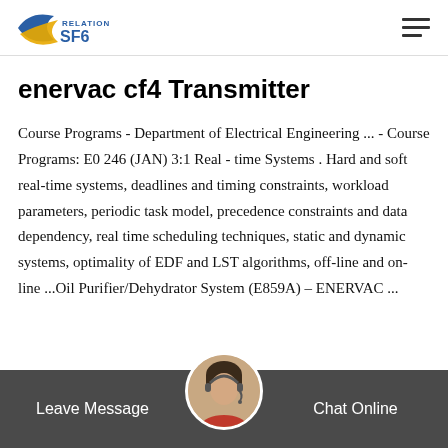RELATIONS SF6 [logo] [hamburger menu]
enervac cf4 Transmitter
Course Programs - Department of Electrical Engineering ... - Course Programs: E0 246 (JAN) 3:1 Real - time Systems . Hard and soft real-time systems, deadlines and timing constraints, workload parameters, periodic task model, precedence constraints and data dependency, real time scheduling techniques, static and dynamic systems, optimality of EDF and LST algorithms, off-line and on-line ...Oil Purifier/Dehydrator System (E859A) – ENERVAC ...
Leave Message  [avatar]  Chat Online